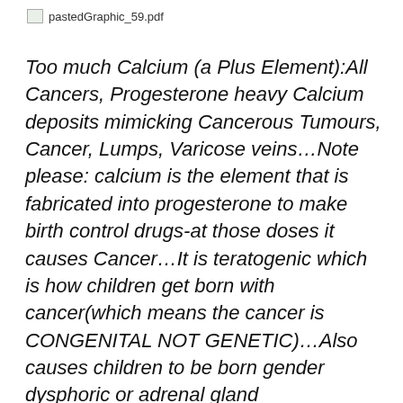pastedGraphic_59.pdf
Too much Calcium (a Plus Element):All Cancers, Progesterone heavy Calcium deposits mimicking Cancerous Tumours, Cancer, Lumps, Varicose veins…Note please: calcium is the element that is fabricated into progesterone to make birth control drugs-at those doses it causes Cancer…It is teratogenic which is how children get born with cancer(which means the cancer is CONGENITAL NOT GENETIC)…Also causes children to be born gender dysphoric or adrenal gland failure(aids)… There are herbal(lower dose) forms of calcium which cause celibate behaviours but do not cause cancer…ie: Vitus pastedGraphic_60.pdfAgnus Castus (an herb)